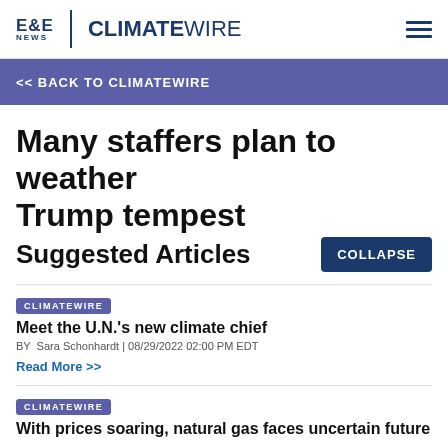E&E NEWS | CLIMATEWIRE
<< BACK TO CLIMATEWIRE
Many staffers plan to weather Trump tempest
Suggested Articles
CLIMATEWIRE
Meet the U.N.'s new climate chief
BY Sara Schonhardt | 08/29/2022 02:00 PM EDT
Read More >>
CLIMATEWIRE
With prices soaring, natural gas faces uncertain future